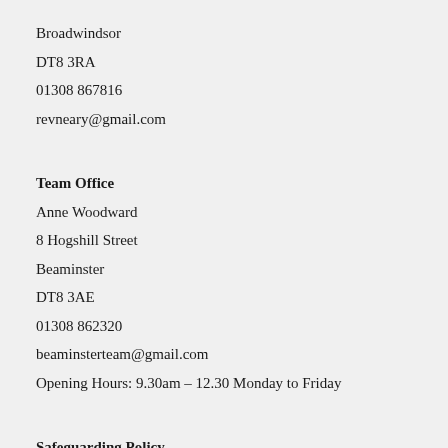Broadwindsor
DT8 3RA
01308 867816
revneary@gmail.com
Team Office
Anne Woodward
8 Hogshill Street
Beaminster
DT8 3AE
01308 862320
beaminsterteam@gmail.com
Opening Hours: 9.30am – 12.30 Monday to Friday
Safeguarding Policy
The Beaminster Area Team Ministry takes its responsibilities surrounding the safeguarding of children, young people, and adults who may be at risk